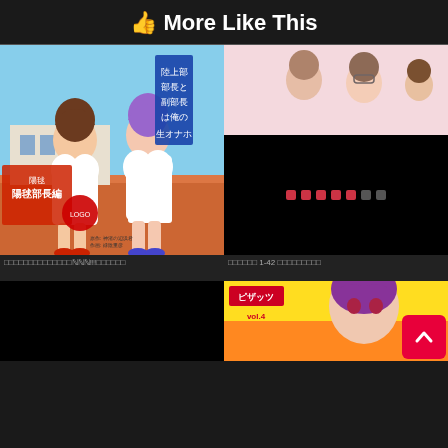👍 More Like This
[Figure (illustration): Manga cover with two anime female characters in athletic wear, Japanese text overlay, track and field background]
[Figure (illustration): Top portion: anime romance scene with two characters, bottom: black panel with pink/red dot pattern]
□□□□□□□□□□□□□□ℕℕℕ!!!□□□□□□
□□□□□□ 1-42 □□□□□□□□□
[Figure (illustration): Black panel - bottom left thumbnail]
[Figure (illustration): Manga magazine cover with anime character, yellow/orange background, Japanese text ピザッツ vol.4]